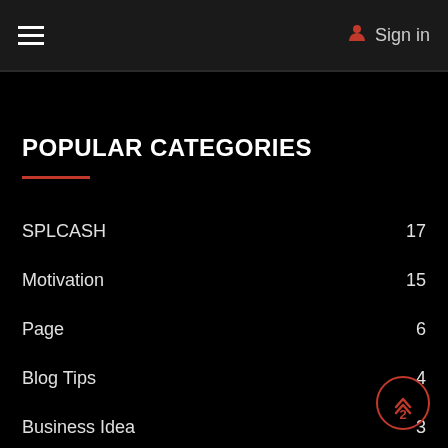Sign in
POPULAR CATEGORIES
SPLCASH  17
Motivation  15
Page  6
Blog Tips  4
Business Idea  3
██████  2